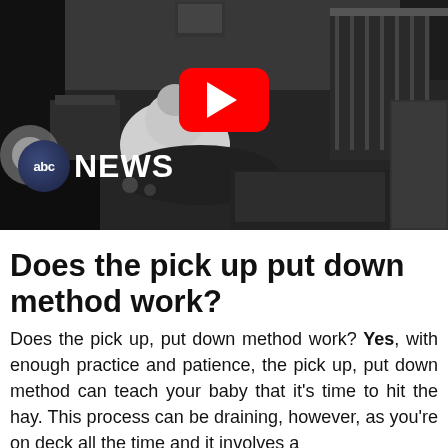[Figure (screenshot): Black and white night-vision security camera footage of a baby's room viewed from above, showing a crib, a person, and furniture. Overlaid with a YouTube play button (red rounded rectangle with white triangle) and the ABC News logo (circular ABC logo with NEWS text in white).]
Does the pick up put down method work?
Does the pick up, put down method work? Yes, with enough practice and patience, the pick up, put down method can teach your baby that it’s time to hit the hay. This process can be draining, however, as you’re on deck all the time and it involves a